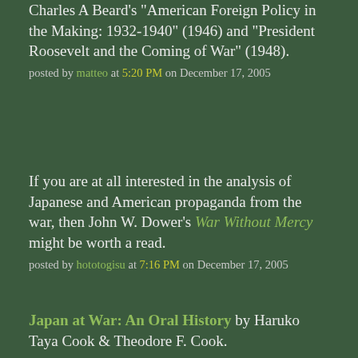Charles A Beard's "American Foreign Policy in the Making: 1932-1940" (1946) and "President Roosevelt and the Coming of War" (1948).
posted by matteo at 5:20 PM on December 17, 2005
If you are at all interested in the analysis of Japanese and American propaganda from the war, then John W. Dower's War Without Mercy might be worth a read.
posted by hototogisu at 7:16 PM on December 17, 2005
Japan at War: An Oral History by Haruko Taya Cook & Theodore F. Cook.
posted by SPrintF at 7:41 PM on December 17, 2005
I've been wanting to read this for ages. I guess, if you have the option, go for the primary source!